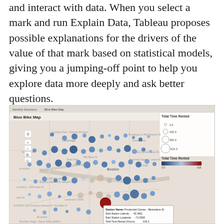and interact with data. When you select a mark and run Explain Data, Tableau proposes possible explanations for the drivers of the value of that mark based on statistical models, giving you a jumping-off point to help you explore data more deeply and ask better questions.
[Figure (map): Blue Bike Map showing bike station locations around Boston and Cambridge. Bubbles represent stations sized and colored by Total Time Rented (hours), ranging from 0.0 to 619.3. A tooltip is shown for 'Prudential Center - Belvedere St' with Start Station Latitude 42.3461, Start Station Longitude -71.0828, Total Time Rented (hours) 619.2. Legend shows bubble sizes for 0.0, 200.0, 400.0, 619.3 and a color scale from dark blue (0.0) to dark red (619).]